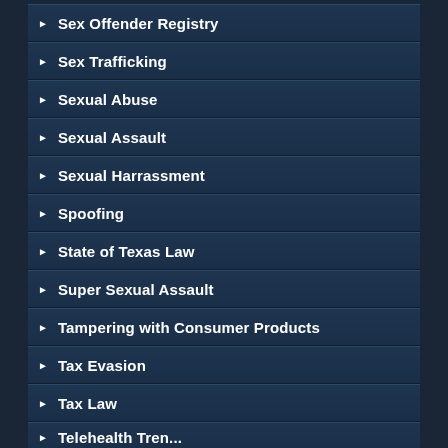Sex Offender Registry
Sex Trafficking
Sexual Abuse
Sexual Assault
Sexual Harrassment
Spoofing
State of Texas Law
Super Sexual Assault
Tampering with Consumer Products
Tax Evasion
Tax Law
Telehealth Trends